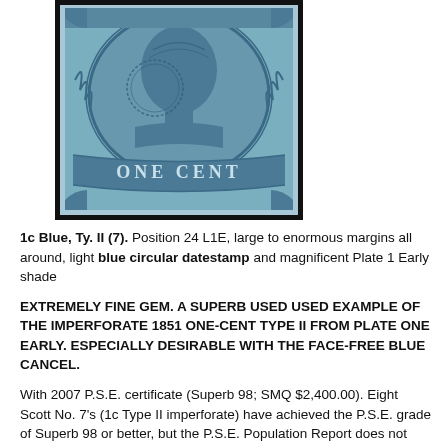[Figure (photo): Close-up photograph of a classic 1851 one-cent blue US postage stamp (imperforate, Type II), showing a portrait bust in blue engraving with 'ONE CENT' text at the bottom, framed by a thick black border.]
1c Blue, Ty. II (7). Position 24 L1E, large to enormous margins all around, light blue circular datestamp and magnificent Plate 1 Early shade
EXTREMELY FINE GEM. A SUPERB USED USED EXAMPLE OF THE IMPERFORATE 1851 ONE-CENT TYPE II FROM PLATE ONE EARLY. ESPECIALLY DESIRABLE WITH THE FACE-FREE BLUE CANCEL.
With 2007 P.S.E. certificate (Superb 98; SMQ $2,400.00). Eight Scott No. 7's (1c Type II imperforate) have achieved the P.S.E. grade of Superb 98 or better, but the P.S.E. Population Report does not break down